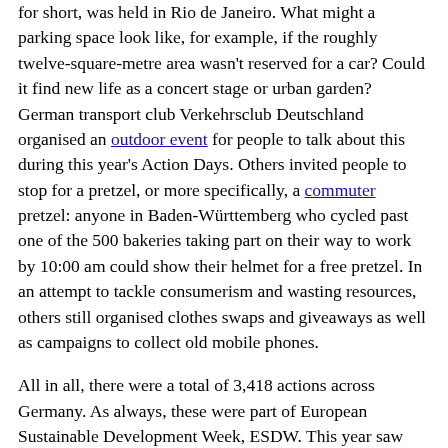for short, was held in Rio de Janeiro. What might a parking space look like, for example, if the roughly twelve-square-metre area wasn't reserved for a car? Could it find new life as a concert stage or urban garden? German transport club Verkehrsclub Deutschland organised an outdoor event for people to talk about this during this year's Action Days. Others invited people to stop for a pretzel, or more specifically, a commuter pretzel: anyone in Baden-Württemberg who cycled past one of the 500 bakeries taking part on their way to work by 10:00 am could show their helmet for a free pretzel. In an attempt to tackle consumerism and wasting resources, others still organised clothes swaps and giveaways as well as campaigns to collect old mobile phones.
All in all, there were a total of 3,418 actions across Germany. As always, these were part of European Sustainable Development Week, ESDW. This year saw 5,415 initiatives from 28 different countries involved. But that's not all: other organizations held different campaigns across Germany over the same period in a cooperation called #gemeinsamfuermorgen, or #togetherfortomorrow, giving an impressive total of 15,618 actions.
The next Action Days will take place once again from 20–26 September 2022. Anyone looking for inspiration can browse for projects at www.tatenfuermorgen.de where you can also contact